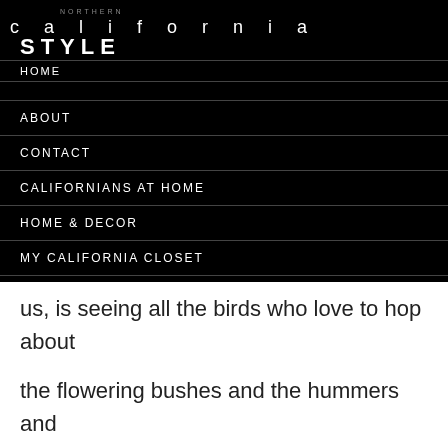NORTHERN california STYLE
HOME
ABOUT
CONTACT
CALIFORNIANS AT HOME
HOME & DECOR
MY CALIFORNIA CLOSET
us, is seeing all the birds who love to hop about the flowering bushes and the hummers and butterflies who visit daily. We love never having to mow the lawn and I feel like we’ve built a new eco-